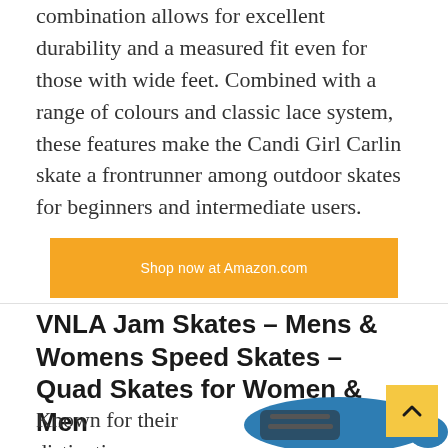combination allows for excellent durability and a measured fit even for those with wide feet. Combined with a range of colours and classic lace system, these features make the Candi Girl Carlin skate a frontrunner among outdoor skates for beginners and intermediate users.
Shop now at Amazon.com
VNLA Jam Skates – Mens & Womens Speed Skates – Quad Skates for Women & Men
Known for their distinctive appearance, these
[Figure (photo): Blue and black roller skate (VNLA Jam Skate) shown from the side]